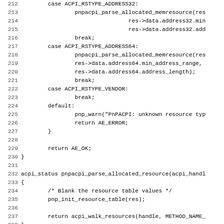[Figure (other): Source code listing (C language) showing lines 212-243 of a kernel/ACPI resource parsing file. Contains switch-case statements for ACPI_RSTYPE_ADDRESS32, ACPI_RSTYPE_ADDRESS64, ACPI_RSTYPE_VENDOR, a default case, and function definitions for pnpacpi_parse_allocated_resource and pnpacpi_parse_dma_option.]